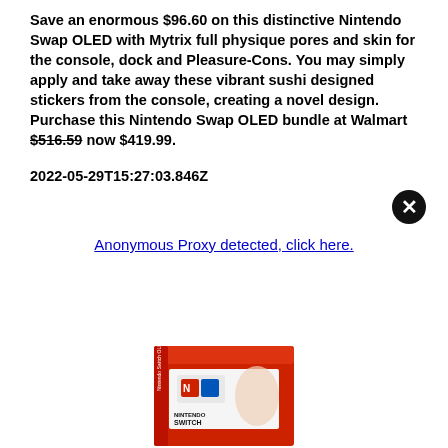Save an enormous $96.60 on this distinctive Nintendo Swap OLED with Mytrix full physique pores and skin for the console, dock and Pleasure-Cons. You may simply apply and take away these vibrant sushi designed stickers from the console, creating a novel design. Purchase this Nintendo Swap OLED bundle at Walmart $516.59 now $419.99.
2022-05-29T15:27:03.846Z
Anonymous Proxy detected, click here.
[Figure (photo): Nintendo Switch OLED product box photo, partially visible at the bottom of the page]